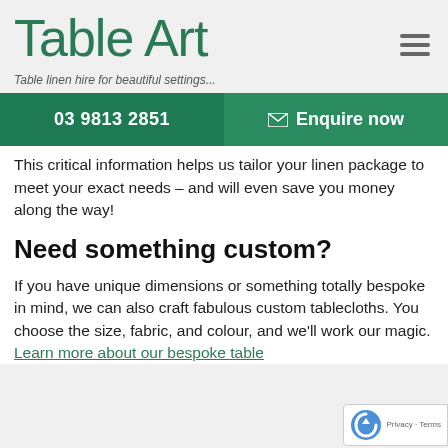Table Art
Table linen hire for beautiful settings...
03 9813 2851
Enquire now
This critical information helps us tailor your linen package to meet your exact needs – and will even save you money along the way!
Need something custom?
If you have unique dimensions or something totally bespoke in mind, we can also craft fabulous custom tablecloths. You choose the size, fabric, and colour, and we'll work our magic. Learn more about our bespoke table